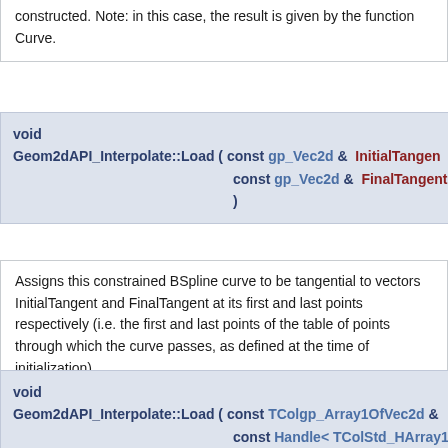Returns true if the constrained BSpline curve is successfully constructed. Note: in this case, the result is given by the function Curve.
void
Geom2dAPI_Interpolate::Load ( const gp_Vec2d & InitialTangent,
 const gp_Vec2d & FinalTangent,
 )
Assigns this constrained BSpline curve to be tangential to vectors InitialTangent and FinalTangent at its first and last points respectively (i.e. the first and last points of the table of points through which the curve passes, as defined at the time of initialization).
void
Geom2dAPI_Interpolate::Load ( const TColgp_Array1OfVec2d &
 const Handle< TColStd_HArray1
 )